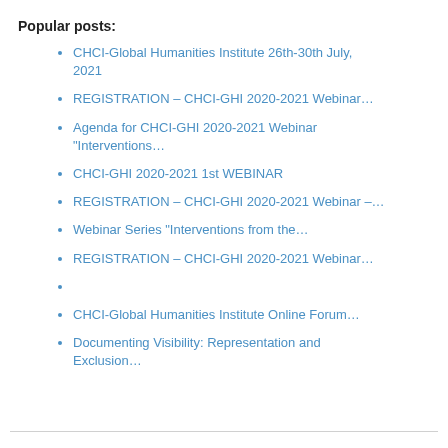Popular posts:
CHCI-Global Humanities Institute 26th-30th July, 2021
REGISTRATION – CHCI-GHI 2020-2021 Webinar…
Agenda for CHCI-GHI 2020-2021 Webinar "Interventions…
CHCI-GHI 2020-2021 1st WEBINAR
REGISTRATION – CHCI-GHI 2020-2021 Webinar –…
Webinar Series "Interventions from the…
REGISTRATION – CHCI-GHI 2020-2021 Webinar…
CHCI-Global Humanities Institute Online Forum…
Documenting Visibility: Representation and Exclusion…